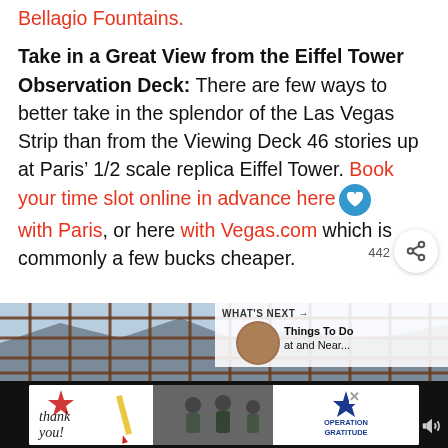Bellagio Fountains.
Take in a Great View from the Eiffel Tower Observation Deck: There are few ways to better take in the splendor of the Las Vegas Strip than from the Viewing Deck 46 stories up at Paris’ 1/2 scale replica Eiffel Tower. Book your time slot online in advance here with Paris, or here with Vegas.com which is commonly a few bucks cheaper.
[Figure (photo): Photo showing view from Eiffel Tower observation deck with metal grid fence and Vegas Strip skyline in background]
[Figure (photo): Advertisement banner: Thank you with military imagery and Operation Gratitude logo]